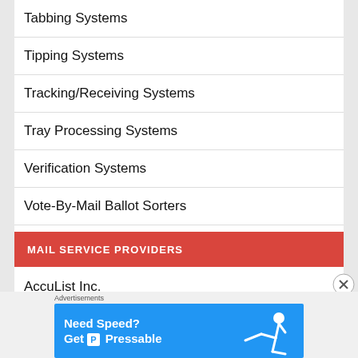Tabbing Systems
Tipping Systems
Tracking/Receiving Systems
Tray Processing Systems
Verification Systems
Vote-By-Mail Ballot Sorters
MAIL SERVICE PROVIDERS
AccuList Inc.
Canadian Mailing Machines
[Figure (infographic): Blue advertisement banner reading 'Need Speed? Get Pressable' with a figure of a person running/sliding, labeled Advertisements]